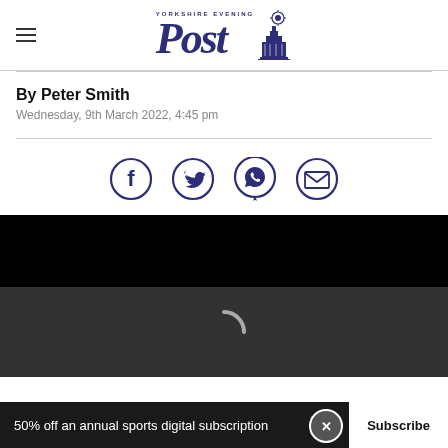Yorkshire Evening Post
By Peter Smith
Wednesday, 9th March 2022, 4:45 pm
[Figure (infographic): Social share icons: Facebook, Twitter, WhatsApp, Email — circular outline style in dark navy/purple]
[Figure (screenshot): Video player area with black background and loading spinner arc]
50% off an annual sports digital subscription  Subscribe